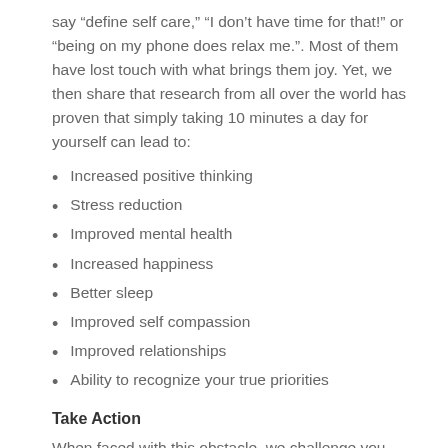say “define self care,” “I don’t have time for that!” or “being on my phone does relax me.”. Most of them have lost touch with what brings them joy. Yet, we then share that research from all over the world has proven that simply taking 10 minutes a day for yourself can lead to:
Increased positive thinking
Stress reduction
Improved mental health
Increased happiness
Better sleep
Improved self compassion
Improved relationships
Ability to recognize your true priorities
Take Action
When faced with this obstacle, we challenge you